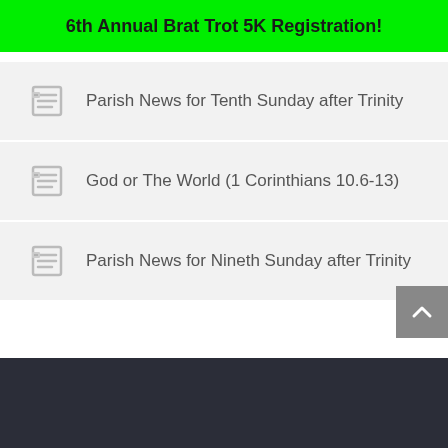6th Annual Brat Trot 5K Registration!
Parish News for Tenth Sunday after Trinity
God or The World (1 Corinthians 10.6-13)
Parish News for Nineth Sunday after Trinity